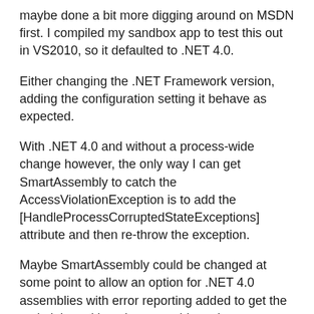maybe done a bit more digging around on MSDN first. I compiled my sandbox app to test this out in VS2010, so it defaulted to .NET 4.0.
Either changing the .NET Framework version, adding the configuration setting it behave as expected.
With .NET 4.0 and without a process-wide change however, the only way I can get SmartAssembly to catch the AccessViolationException is to add the [HandleProcessCorruptedStateExceptions] attribute and then re-throw the exception.
Maybe SmartAssembly could be changed at some point to allow an option for .NET 4.0 assemblies with error reporting added to get the code injected into the assembly to decorate your error handler with the appropriate attribute to allow it to catch such problems if wanted in the .saproj file?
We would certainly find this beneficial as we could report exceptions caused by our native components, and then prevent the user from continuing, giving us enough leeway to report the error, but not allowing the process to continue...